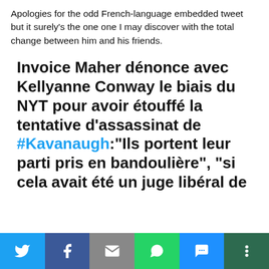Apologies for the odd French-language embedded tweet but it surely's the one one I may discover with the total change between him and his friends.
Invoice Maher dénonce avec Kellyanne Conway le biais du NYT pour avoir étouffé la tentative d'assassinat de #Kavanaugh:"Ils portent leur parti pris en bandoulière", "si cela avait été un juge libéral de
[Figure (infographic): Social sharing bar with Twitter, Facebook, Email, WhatsApp, SMS, and More buttons]